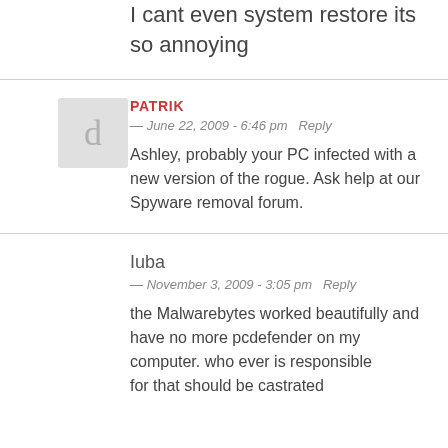I cant even system restore its so annoying
PATRIK
— June 22, 2009 - 6:46 pm  Reply
Ashley, probably your PC infected with a new version of the rogue. Ask help at our Spyware removal forum.
Iuba
— November 3, 2009 - 3:05 pm  Reply
the Malwarebytes worked beautifully and have no more pcdefender on my computer. who ever is responsible for that should be castrated